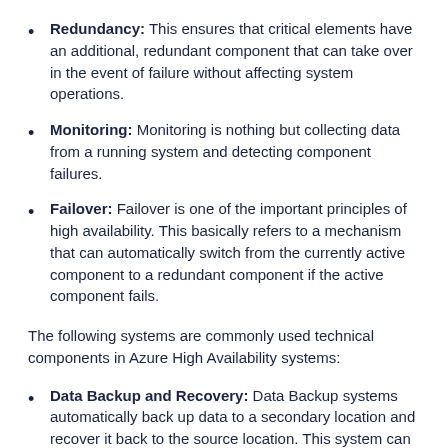Redundancy: This ensures that critical elements have an additional, redundant component that can take over in the event of failure without affecting system operations.
Monitoring: Monitoring is nothing but collecting data from a running system and detecting component failures.
Failover: Failover is one of the important principles of high availability. This basically refers to a mechanism that can automatically switch from the currently active component to a redundant component if the active component fails.
The following systems are commonly used technical components in Azure High Availability systems:
Data Backup and Recovery: Data Backup systems automatically back up data to a secondary location and recover it back to the source location. This system can be